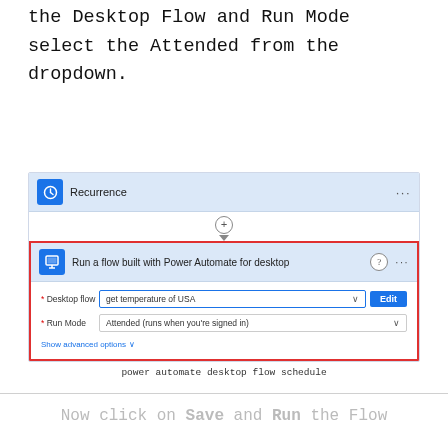the Desktop Flow and Run Mode select the Attended from the dropdown.
[Figure (screenshot): Power Automate flow screenshot showing Recurrence trigger and Run a flow built with Power Automate for desktop action. Desktop flow set to 'get temperature of USA' with Edit button, Run Mode set to 'Attended (runs when you're signed in)'. Show advanced options link visible. Red border around the desktop flow action card.]
power automate desktop flow schedule
Now click on Save and Run the Flow